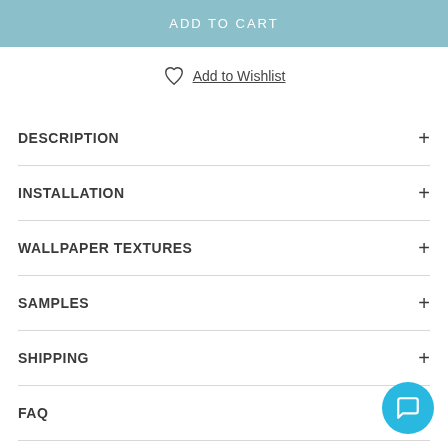ADD TO CART
Add to Wishlist
DESCRIPTION
INSTALLATION
WALLPAPER TEXTURES
SAMPLES
SHIPPING
FAQ